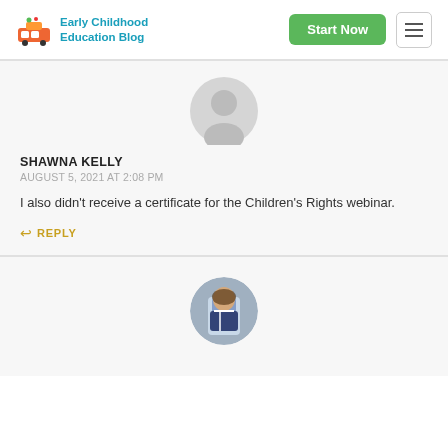Early Childhood Education Blog | Start Now
[Figure (photo): Gray default avatar placeholder circle with person silhouette]
SHAWNA KELLY
AUGUST 5, 2021 AT 2:08 PM
I also didn't receive a certificate for the Children's Rights webinar.
REPLY
[Figure (photo): Circular profile photo of a woman with dark hair wearing a striped top]